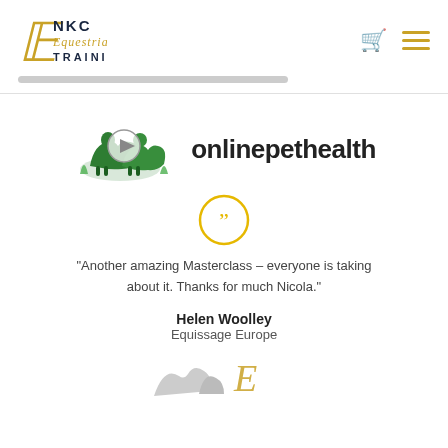[Figure (logo): NKC Equestrian Training logo with stylized E in gold and NKC TRAINING in dark navy, with Equestrian in italic gold script]
[Figure (logo): onlinepethealth logo with green horse/animal silhouette and play button icon]
[Figure (other): Yellow circle quote icon (double quotation mark)]
“Another amazing Masterclass – everyone is taking about it. Thanks for much Nicola.”
Helen Woolley
Equissage Europe
[Figure (logo): Partial logo at bottom of page, partially cut off]